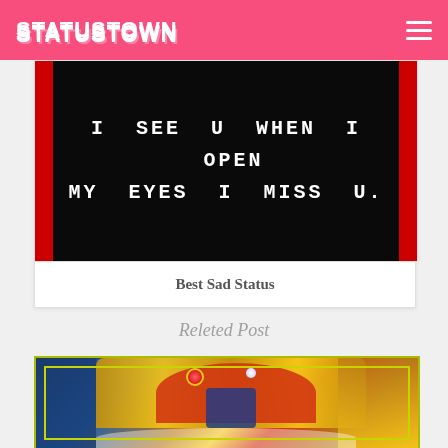STATUSTOWN
[Figure (illustration): Dark background image with text 'I SEE U WHEN I OPEN MY EYES I MISS U.' in monospace uppercase white letters, with red side borders]
Best Sad Status
Releted Post
[Figure (photo): Colorful festive image showing an ornate gold and red crown/headdress with jewels and decorations, on a blue background with yellow-green border frame]